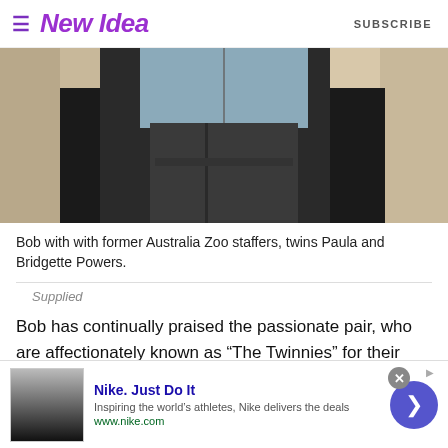New Idea | SUBSCRIBE
[Figure (photo): Cropped photo showing three people from the torso down, wearing jackets — one beige/cream on the left, one dark with light blue shirt in the center, and one cream/beige on the right.]
Bob with with former Australia Zoo staffers, twins Paula and Bridgette Powers.
Supplied
Bob has continually praised the passionate pair, who are affectionately known as “The Twinnies” for their work saving and rehabilitating birds over the years through their registered charity, Twinnies Pelican and Seabird Rescue.
[Figure (screenshot): Nike advertisement banner: 'Nike. Just Do It' with tagline 'Inspiring the world’s athletes, Nike delivers the deals', URL www.nike.com, thumbnail image, close button, and arrow button.]